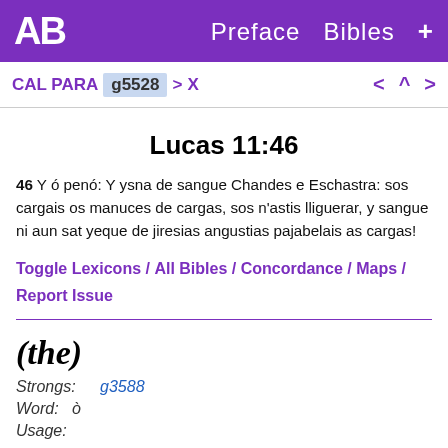AB  Preface  Bibles  +
CAL PARA g5528 > X   < ^ >
Lucas 11:46
46 Y ó penó: Y ysna de sangue Chandes e Eschastra: sos cargais os manuces de cargas, sos n'astis lliguerar, y sangue ni aun sat yeque de jiresias angustias pajabelais as cargas!
Toggle Lexicons / All Bibles / Concordance / Maps / Report Issue
(the)
Strongs: g3588
Word: ò
Usage: